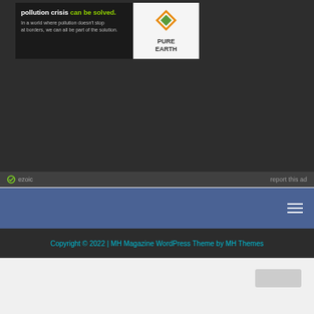[Figure (screenshot): Advertisement banner for Pure Earth showing text 'pollution crisis can be solved.' with 'can be solved.' in green, and 'In a world where pollution doesn't stop at borders, we can all be part of the solution.' below, with Pure Earth logo on the right]
ezoic   report this ad
[Figure (screenshot): Dark navigation bar with hamburger menu icon in the top right]
Copyright © 2022 | MH Magazine WordPress Theme by MH Themes